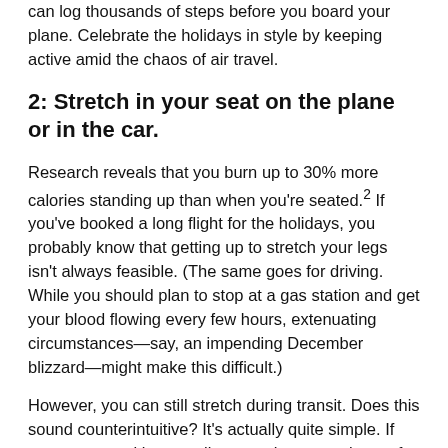can log thousands of steps before you board your plane. Celebrate the holidays in style by keeping active amid the chaos of air travel.
2: Stretch in your seat on the plane or in the car.
Research reveals that you burn up to 30% more calories standing up than when you're seated.² If you've booked a long flight for the holidays, you probably know that getting up to stretch your legs isn't always feasible. (The same goes for driving. While you should plan to stop at a gas station and get your blood flowing every few hours, extenuating circumstances—say, an impending December blizzard—might make this difficult.)
However, you can still stretch during transit. Does this sound counterintuitive? It's actually quite simple. If you are seated in a small space, there are plenty of ways you can work your